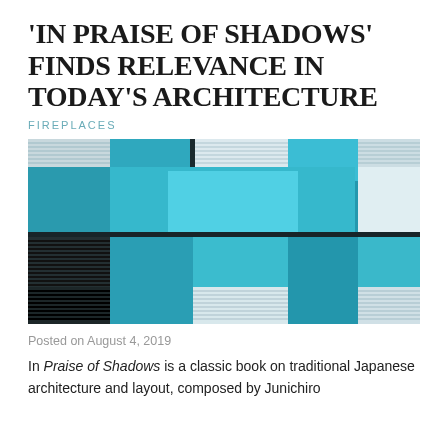'IN PRAISE OF SHADOWS' FINDS RELEVANCE IN TODAY'S ARCHITECTURE
FIREPLACES
[Figure (photo): Abstract architectural photo showing overlapping teal and blue rectangular panels on a building facade, with horizontal louvered sections in white and dark stripes at corners and bottom.]
Posted on August 4, 2019
In Praise of Shadows is a classic book on traditional Japanese architecture and layout, composed by Junichiro